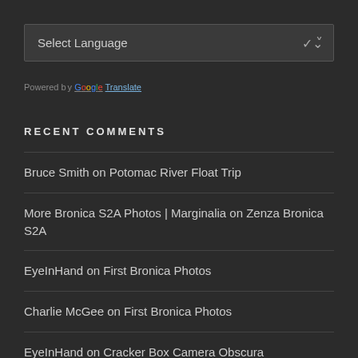[Figure (screenshot): Language selector dropdown widget showing 'Select Language' with a downward chevron arrow, on a dark background]
Powered by Google Translate
RECENT COMMENTS
Bruce Smith on Potomac River Float Trip
More Bronica S2A Photos | Marginalia on Zenza Bronica S2A
EyeInHand on First Bronica Photos
Charlie McGee on First Bronica Photos
EyeInHand on Cracker Box Camera Obscura